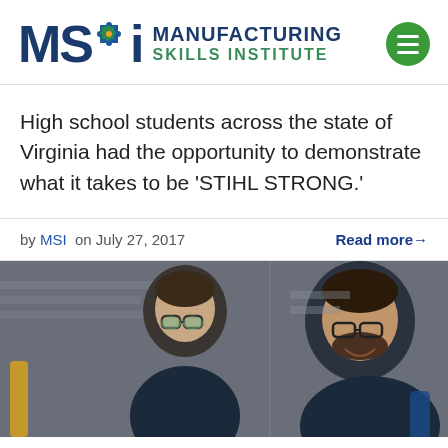[Figure (logo): MSI Manufacturing Skills Institute logo with puzzle piece icon and green hamburger menu button]
High school students across the state of Virginia had the opportunity to demonstrate what it takes to be ‘STIHL STRONG.’
by MSI  on July 27, 2017    Read more→
[Figure (photo): Two young men wearing safety glasses in a manufacturing/workshop setting. The man on the left is looking down, the man on the right is smiling at the camera. Industrial equipment visible in background.]